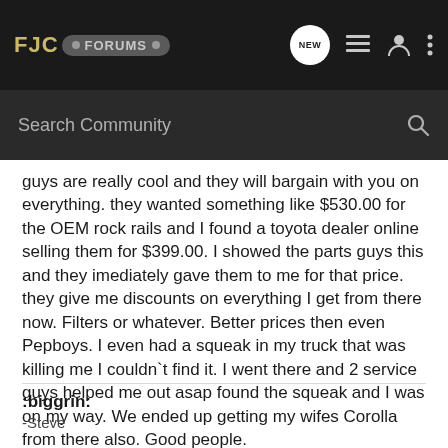FJC FORUMS — header navigation bar with NEW, list, user, and menu icons
Search Community
guys are really cool and they will bargain with you on everything. they wanted something like $530.00 for the OEM rock rails and I found a toyota dealer online selling them for $399.00. I showed the parts guys this and they imediately gave them to me for that price. they give me discounts on everything I get from there now. Filters or whatever. Better prices then even Pepboys. I even had a squeak in my truck that was killing me I couldn`t find it. I went there and 2 service guys helped me out asap found the squeak and I was on my way. We ended up getting my wifes Corolla from there also. Good people.
:biggrin:
-Steve